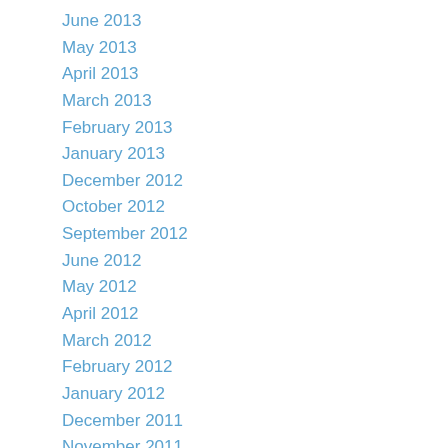June 2013
May 2013
April 2013
March 2013
February 2013
January 2013
December 2012
October 2012
September 2012
June 2012
May 2012
April 2012
March 2012
February 2012
January 2012
December 2011
November 2011
September 2011
August 2011
July 2011
June 2011
May 2011
April 2011